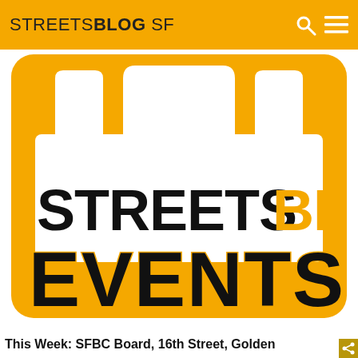STREETSBLOG SF
[Figure (logo): Streetsblog Events logo: orange rounded square with white crown/crenellation shape at top, 'STREETS' in black bold and 'BLOG' in yellow bold text, 'EVENTS' in large black bold text with orange outline at bottom]
This Week: SFBC Board, 16th Street, Golden